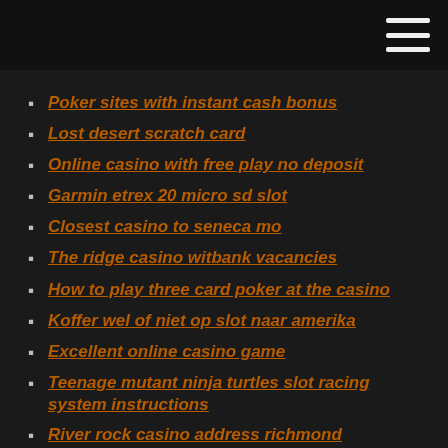Poker sites with instant cash bonus
Lost desert scratch card
Online casino with free play no deposit
Garmin etrex 20 micro sd slot
Closest casino to seneca mo
The ridge casino witbank vacancies
How to play three card poker at the casino
Koffer wel of niet op slot naar amerika
Excellent online casino game
Teenage mutant ninja turtles slot racing system instructions
River rock casino address richmond
Excellent online casino game
Stash of the titans